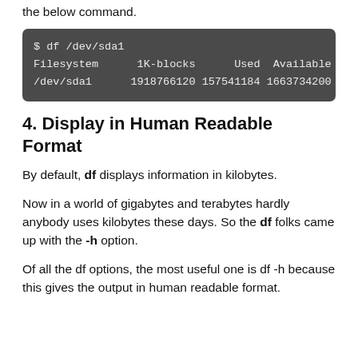the below command.
$ df /dev/sda1
Filesystem      1K-blocks      Used  Available
/dev/sda1      1918766120 157541184 1663734200
4. Display in Human Readable Format
By default, df displays information in kilobytes.
Now in a world of gigabytes and terabytes hardly anybody uses kilobytes these days. So the df folks came up with the -h option.
Of all the df options, the most useful one is df -h because this gives the output in human readable format.